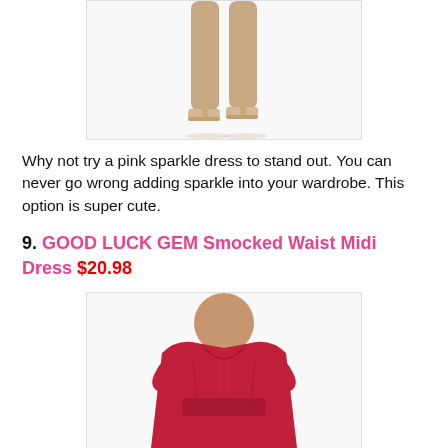[Figure (photo): Cropped image of a person's legs wearing nude/clear heeled sandals, white background, bottom portion of a dress visible]
Why not try a pink sparkle dress to stand out. You can never go wrong adding sparkle into your wardrobe. This option is super cute.
9. GOOD LUCK GEM Smocked Waist Midi Dress $20.98
[Figure (photo): Image of a model wearing a red/crimson V-neck midi dress with smocked waist and puffed short sleeves, torso cropped]